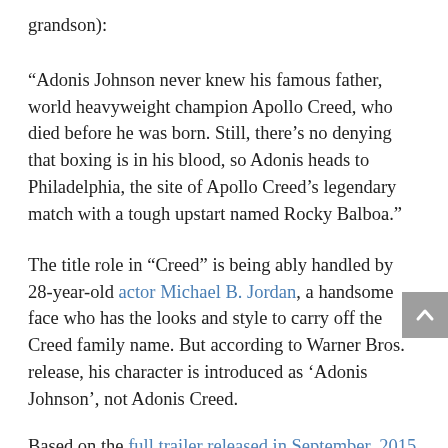grandson):
“Adonis Johnson never knew his famous father, world heavyweight champion Apollo Creed, who died before he was born. Still, there’s no denying that boxing is in his blood, so Adonis heads to Philadelphia, the site of Apollo Creed’s legendary match with a tough upstart named Rocky Balboa.”
The title role in “Creed” is being ably handled by 28-year-old actor Michael B. Jordan, a handsome face who has the looks and style to carry off the Creed family name. But according to Warner Bros. release, his character is introduced as ‘Adonis Johnson’, not Adonis Creed.
Based on the full trailer released in September, 2015